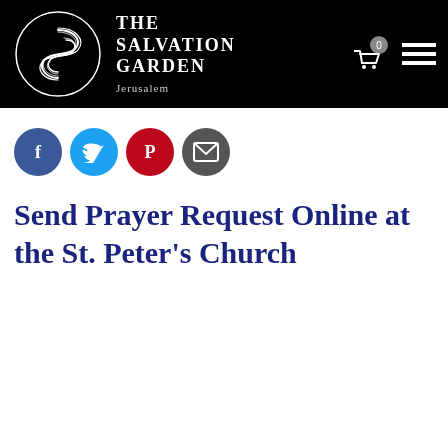[Figure (logo): The Salvation Garden Jerusalem logo — circular swirling S monogram in white on black, with text THE SALVATION GARDEN and Jerusalem below]
[Figure (infographic): Social share buttons: Facebook (blue circle), Twitter (light blue circle), Pinterest (red circle), Email (dark grey circle)]
Send Prayer Request Online at the St. Peter's Church